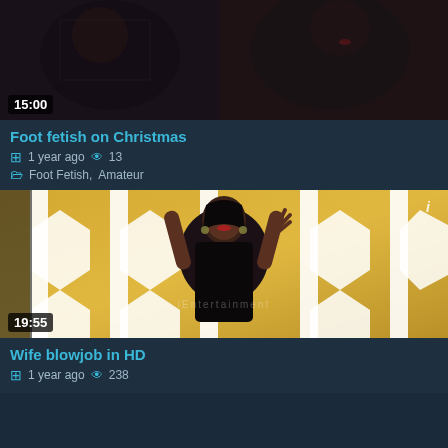[Figure (photo): Video thumbnail showing two women, dark background, timestamp 15:00]
Foot fetish on Christmas
1 year ago  13  Foot Fetish, Amateur
[Figure (photo): Video thumbnail showing a woman in black standing behind decorative metal gate, yellow wall background, watermark text, logo badge 'i', timestamp 19:55]
Wife blowjob in HD
1 year ago  238